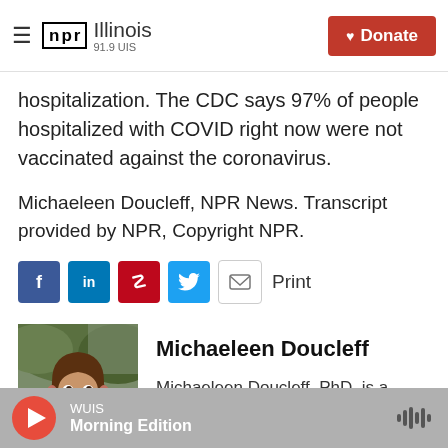NPR Illinois 91.9 UIS — Donate
hospitalization. The CDC says 97% of people hospitalized with COVID right now were not vaccinated against the coronavirus.
Michaeleen Doucleff, NPR News. Transcript provided by NPR, Copyright NPR.
[Figure (screenshot): Social sharing icons: Facebook (blue), LinkedIn (blue), Pinterest (red), Twitter (blue), Email (outline), and Print label]
[Figure (photo): Headshot photo of Michaeleen Doucleff, a woman with short brown hair, smiling, wearing headphones around her neck and a yellow-green top]
Michaeleen Doucleff
Michaeleen Doucleff, PhD, is a
WUIS Morning Edition (audio player)